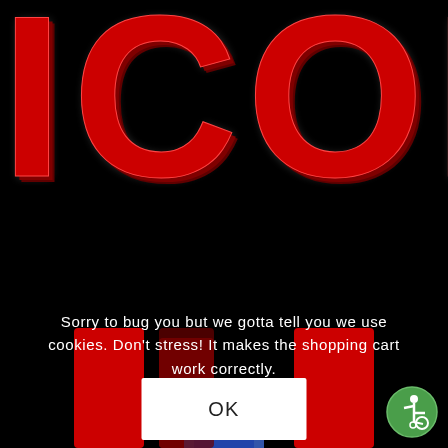[Figure (logo): Large red bold text spelling ICON on black background, partial letters visible, styled with dark red shadow giving 3D effect]
Sorry to bug you but we gotta tell you we use cookies. Don't stress! It makes the shopping cart work correctly.
[Figure (other): White OK button dialog box overlay]
[Figure (illustration): Partially visible red and blue graphic at bottom of page]
[Figure (other): Green circle accessibility icon in bottom right corner]